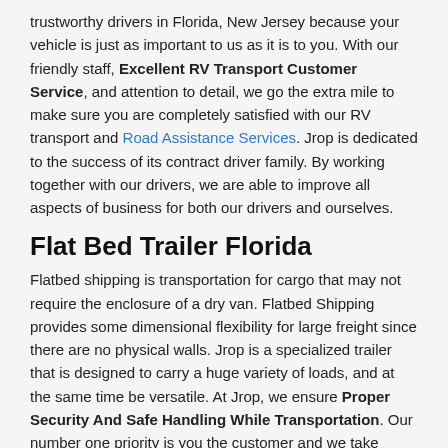trustworthy drivers in Florida, New Jersey because your vehicle is just as important to us as it is to you. With our friendly staff, Excellent RV Transport Customer Service, and attention to detail, we go the extra mile to make sure you are completely satisfied with our RV transport and Road Assistance Services. Jrop is dedicated to the success of its contract driver family. By working together with our drivers, we are able to improve all aspects of business for both our drivers and ourselves.
Flat Bed Trailer Florida
Flatbed shipping is transportation for cargo that may not require the enclosure of a dry van. Flatbed Shipping provides some dimensional flexibility for large freight since there are no physical walls. Jrop is a specialized trailer that is designed to carry a huge variety of loads, and at the same time be versatile. At Jrop, we ensure Proper Security And Safe Handling While Transportation. Our number one priority is you the customer and we take every possible step to make sure you are satisfied.